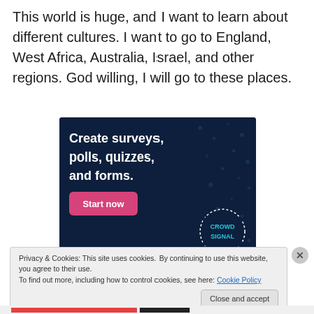This world is huge, and I want to learn about different cultures. I want to go to England, West Africa, Australia, Israel, and other regions. God willing, I will go to these places.
[Figure (screenshot): Advertisement banner with dark navy background showing text 'Create surveys, polls, quizzes, and forms.' with a pink 'Start now' button and a CrowdSignal logo in the bottom right corner with dotted circle border.]
Privacy & Cookies: This site uses cookies. By continuing to use this website, you agree to their use.
To find out more, including how to control cookies, see here: Cookie Policy
Close and accept